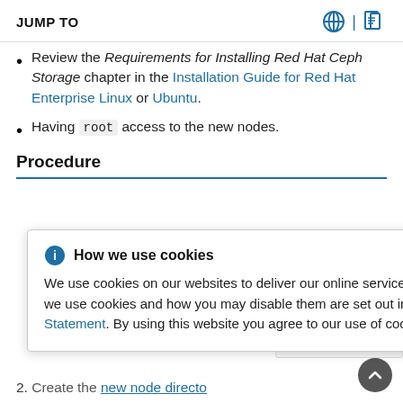JUMP TO
Review the Requirements for Installing Red Hat Ceph Storage chapter in the Installation Guide for Red Hat Enterprise Linux or Ubuntu.
Having root access to the new nodes.
Procedure
How we use cookies — We use cookies on our websites to deliver our online services. Details about how we use cookies and how you may disable them are set out in our Privacy Statement. By using this website you agree to our use of cookies.